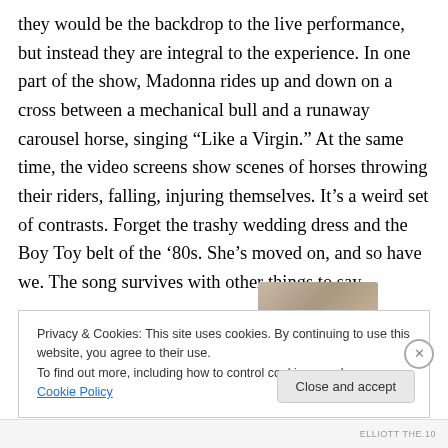they would be the backdrop to the live performance, but instead they are integral to the experience. In one part of the show, Madonna rides up and down on a cross between a mechanical bull and a runaway carousel horse, singing “Like a Virgin.” At the same time, the video screens show scenes of horses throwing their riders, falling, injuring themselves. It’s a weird set of contrasts. Forget the trashy wedding dress and the Boy Toy belt of the ’80s. She’s moved on, and so have we. The song survives with other things to say.
[Figure (photo): Partial view of a photograph, cropped at the top of the cookie banner area]
Privacy & Cookies: This site uses cookies. By continuing to use this website, you agree to their use.
To find out more, including how to control cookies, see here: Cookie Policy
Close and accept
ELLIOTT THE.10